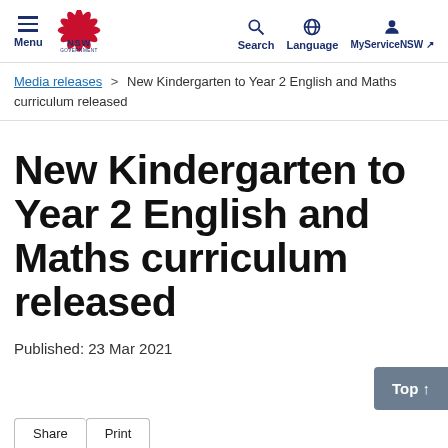Menu | NSW Government | Search | Language | MyServiceNSW
Media releases > New Kindergarten to Year 2 English and Maths curriculum released
New Kindergarten to Year 2 English and Maths curriculum released
Published: 23 Mar 2021